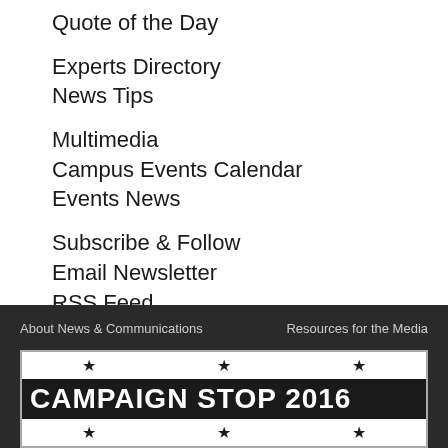Quote of the Day
Experts Directory
News Tips
Multimedia
Campus Events Calendar
Events News
Subscribe & Follow
Email Newsletter
RSS Feed
Facebook
Twitter
About News & Communications    Resources for the Media
[Figure (logo): Campaign Stop 2016 banner with stars above and below the title text on white background within dark footer]